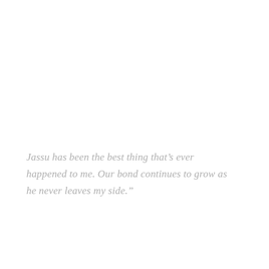Jassu has been the best thing that’s ever happened to me. Our bond continues to grow as he never leaves my side.”